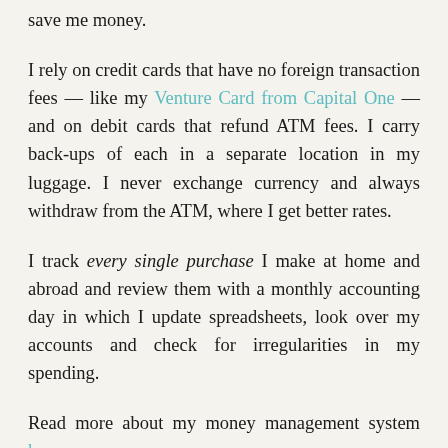save me money.
I rely on credit cards that have no foreign transaction fees — like my Venture Card from Capital One — and on debit cards that refund ATM fees. I carry back-ups of each in a separate location in my luggage. I never exchange currency and always withdraw from the ATM, where I get better rates.
I track every single purchase I make at home and abroad and review them with a monthly accounting day in which I update spreadsheets, look over my accounts and check for irregularities in my spending.
Read more about my money management system here.